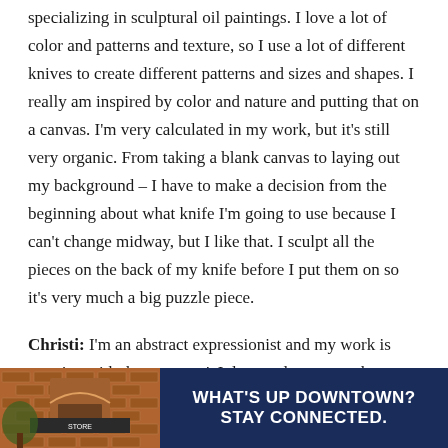specializing in sculptural oil paintings. I love a lot of color and patterns and texture, so I use a lot of different knives to create different patterns and sizes and shapes. I really am inspired by color and nature and putting that on a canvas. I'm very calculated in my work, but it's still very organic. From taking a blank canvas to laying out my background – I have to make a decision from the beginning about what knife I'm going to use because I can't change midway, but I like that. I sculpt all the pieces on the back of my knife before I put them on so it's very much a big puzzle piece.
Christi: I'm an abstract expressionist and my work is very 'go with the moment.' I do not plan my work out like Melissa, so I go with a lot of emotion and message. With... nd grad...
[Figure (photo): Partial view of a brick building with decorative facade, shown as part of an advertisement banner]
WHAT'S UP DOWNTOWN? STAY CONNECTED.